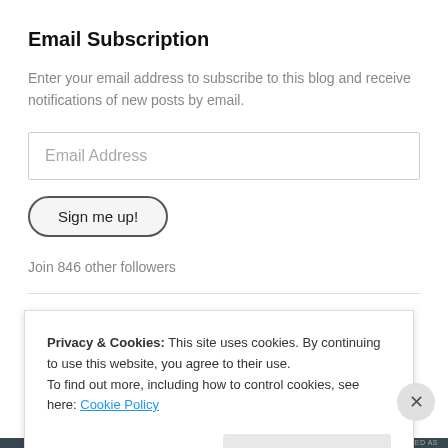Email Subscription
Enter your email address to subscribe to this blog and receive notifications of new posts by email.
Email Address
Sign me up!
Join 846 other followers
Subscribe
Privacy & Cookies: This site uses cookies. By continuing to use this website, you agree to their use.
To find out more, including how to control cookies, see here: Cookie Policy
Close and accept